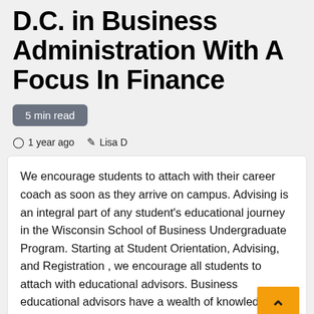D.C. in Business Administration With A Focus In Finance
5 min read
1 year ago   Lisa D
We encourage students to attach with their career coach as soon as they arrive on campus. Advising is an integral part of any student's educational journey in the Wisconsin School of Business Undergraduate Program. Starting at Student Orientation, Advising, and Registration , we encourage all students to attach with educational advisors. Business educational advisors have a wealth of knowledge about programs on campus, as nicely as policies and procedures. This is asample four-year p for students Business immediately admitted into the School of Business from highschool. We encourage all students to seek the guidance of with their educational